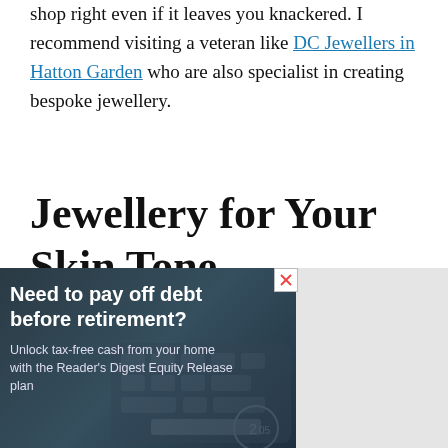shop right even if it leaves you knackered. I recommend visiting a veteran like DC Jewellers in Hatton Garden who are also specialist in creating bespoke jewellery.
Jewellery for Your Skin Tone
[Figure (other): Advertisement banner showing a keyboard in the background with text: 'Need to pay off debt before retirement? Unlock tax-free cash from your home with the Reader's Digest Equity Release plan']